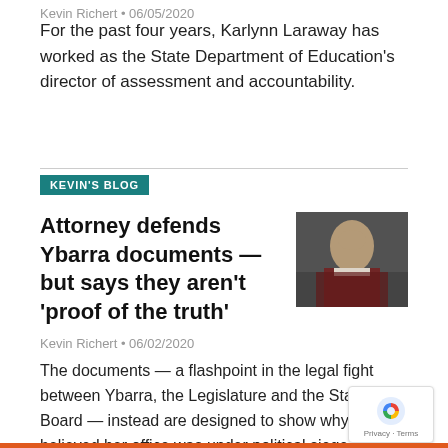Kevin Richert • 06/05/2020
For the past four years, Karlynn Laraway has worked as the State Department of Education's director of assessment and accountability.
KEVIN'S BLOG
Attorney defends Ybarra documents — but says they aren't 'proof of the truth'
[Figure (photo): Photo of a woman with blonde hair in a dark jacket, seated, looking to the side]
Kevin Richert • 06/02/2020
The documents — a flashpoint in the legal fight between Ybarra, the Legislature and the State Board — instead are designed to show why Ybarra believed her office was under political siege.